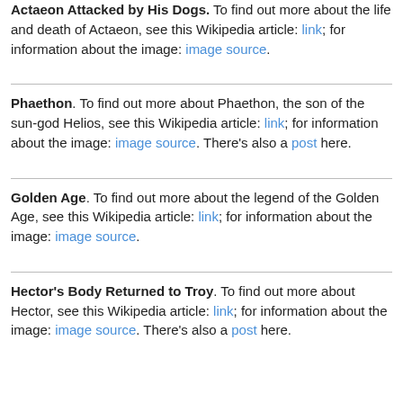Actaeon Attacked by His Dogs. To find out more about the life and death of Actaeon, see this Wikipedia article: link; for information about the image: image source.
Phaethon. To find out more about Phaethon, the son of the sun-god Helios, see this Wikipedia article: link; for information about the image: image source. There's also a post here.
Golden Age. To find out more about the legend of the Golden Age, see this Wikipedia article: link; for information about the image: image source.
Hector's Body Returned to Troy. To find out more about Hector, see this Wikipedia article: link; for information about the image: image source. There's also a post here.